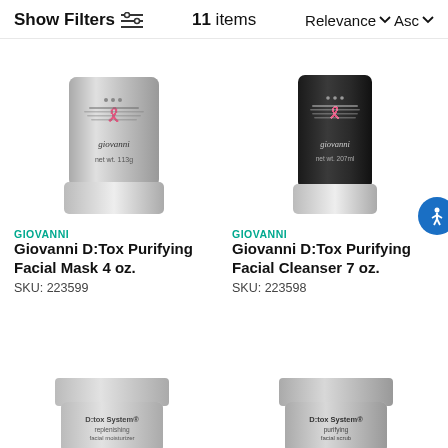Show Filters  11 items  Relevance Asc
[Figure (photo): Giovanni D:Tox Purifying Facial Mask 4 oz. silver tube product image]
GIOVANNI
Giovanni D:Tox Purifying Facial Mask 4 oz.
SKU: 223599
[Figure (photo): Giovanni D:Tox Purifying Facial Cleanser 7 oz. black tube product image]
GIOVANNI
Giovanni D:Tox Purifying Facial Cleanser 7 oz.
SKU: 223598
[Figure (photo): D:tox System replenishing facial moisturizer product partially visible]
[Figure (photo): D:tox System purifying facial scrub product partially visible]